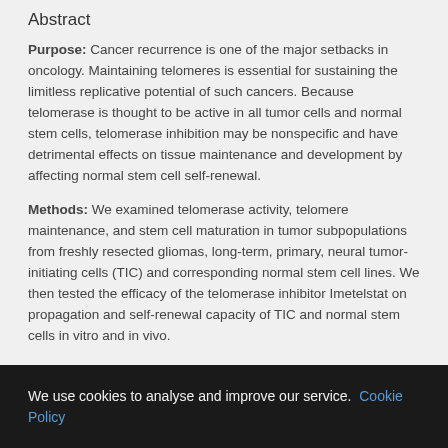Abstract
Purpose: Cancer recurrence is one of the major setbacks in oncology. Maintaining telomeres is essential for sustaining the limitless replicative potential of such cancers. Because telomerase is thought to be active in all tumor cells and normal stem cells, telomerase inhibition may be nonspecific and have detrimental effects on tissue maintenance and development by affecting normal stem cell self-renewal.
Methods: We examined telomerase activity, telomere maintenance, and stem cell maturation in tumor subpopulations from freshly resected gliomas, long-term, primary, neural tumor-initiating cells (TIC) and corresponding normal stem cell lines. We then tested the efficacy of the telomerase inhibitor Imetelstat on propagation and self-renewal capacity of TIC and normal stem cells in vitro and in vivo.
Results: Telomerase was undetectable in the majority of tumor
We use cookies to analyse and improve our service. Cookie Policy